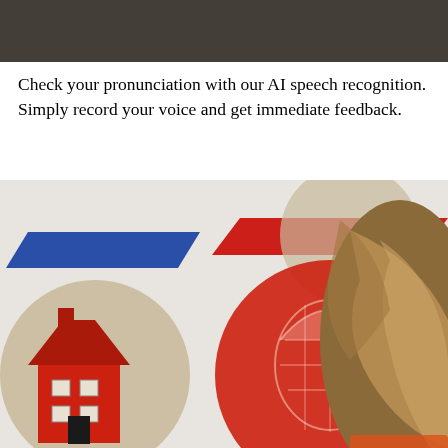[Figure (photo): Top portion of a dark-toned image, appears to be a cropped screenshot or banner]
Check your pronunciation with our AI speech recognition. Simply record your voice and get immediate feedback.
[Figure (photo): A person with blonde/brown hair viewed from behind, looking at a white board or wall decorated with colorful icons including a red house illustration, red circular icons, and geometric shapes in blue and red (parallelogram arrows). The background appears to be an educational or language learning setting.]